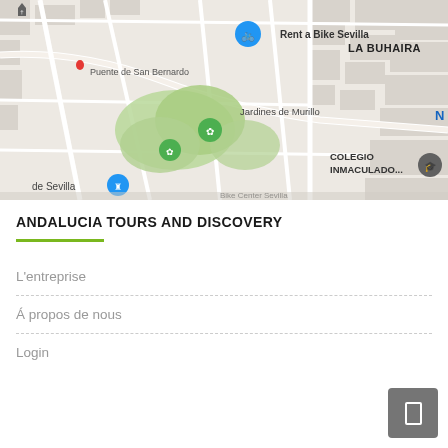[Figure (map): Street map of Sevilla showing Rent a Bike Sevilla, Puente de San Bernardo, Jardines de Murillo, LA BUHAIRA, and COLEGIO INMACULADO... with various map pins and green park areas]
ANDALUCIA TOURS AND DISCOVERY
L'entreprise
Á propos de nous
Login